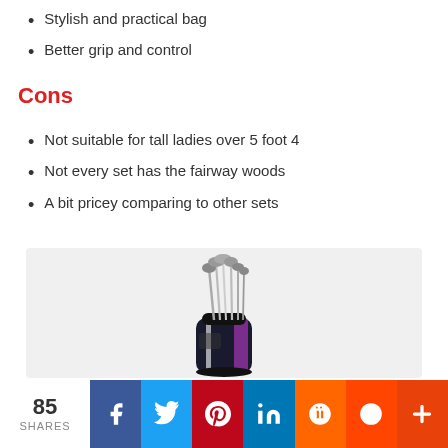Stylish and practical bag
Better grip and control
Cons
Not suitable for tall ladies over 5 foot 4
Not every set has the fairway woods
A bit pricey comparing to other sets
[Figure (photo): Women's golf club set with black and purple bag, clubs displayed upright in the bag]
85 SHARES | Facebook | Twitter | Pinterest | LinkedIn | Mix | Reddit | More